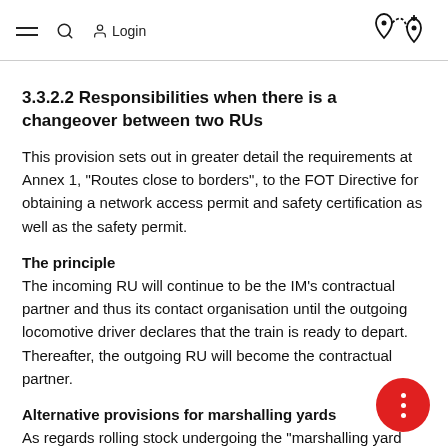≡  🔍  Login  [route icon]
3.3.2.2 Responsibilities when there is a changeover between two RUs
This provision sets out in greater detail the requirements at Annex 1, "Routes close to borders", to the FOT Directive for obtaining a network access permit and safety certification as well as the safety permit.
The principle
The incoming RU will continue to be the IM's contractual partner and thus its contact organisation until the outgoing locomotive driver declares that the train is ready to depart. Thereafter, the outgoing RU will become the contractual partner.
Alternative provisions for marshalling yards
As regards rolling stock undergoing the "marshalling yard